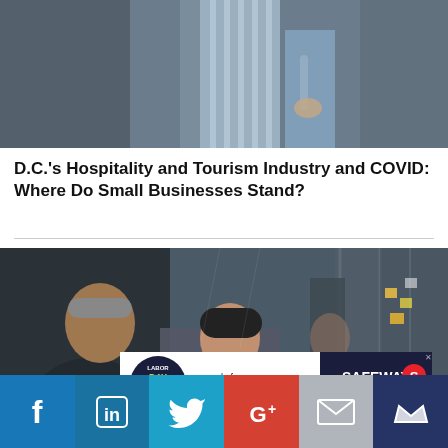[Figure (photo): Top portion of a person in a striped apron standing near a door handle, partial torso only visible]
D.C.'s Hospitality and Tourism Industry and COVID: Where Do Small Businesses Stand?
[Figure (photo): Two business people talking and shaking hands in a modern office lobby with glass walls]
[Figure (infographic): Safeway advertisement banner: Labor Day end of summer savings, Shop Now]
[Figure (infographic): Social media sharing bar with icons for Facebook, LinkedIn, Twitter, Google+, Email, and another service]